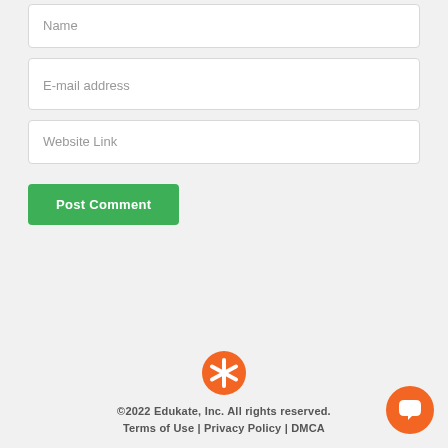Name
E-mail address
Website Link
Post Comment
[Figure (logo): Edukate orange circular logo with white asterisk/star icon]
©2022 Edukate, Inc. All rights reserved. Terms of Use | Privacy Policy | DMCA
[Figure (illustration): Orange circular chat/support button with white speech bubble icon in bottom right corner]